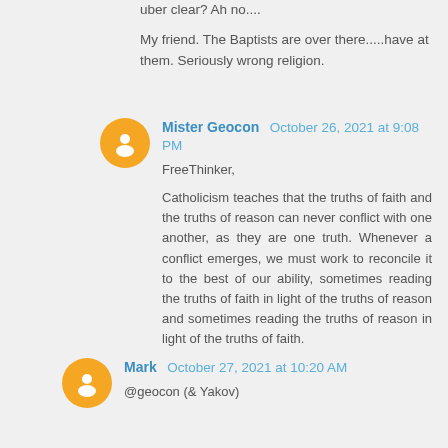uber clear? Ah no....
My friend. The Baptists are over there.....have at them. Seriously wrong religion.
Mister Geocon  October 26, 2021 at 9:08 PM
FreeThinker,
Catholicism teaches that the truths of faith and the truths of reason can never conflict with one another, as they are one truth. Whenever a conflict emerges, we must work to reconcile it to the best of our ability, sometimes reading the truths of faith in light of the truths of reason and sometimes reading the truths of reason in light of the truths of faith.
Mark  October 27, 2021 at 10:20 AM
@geocon (& Yakov)